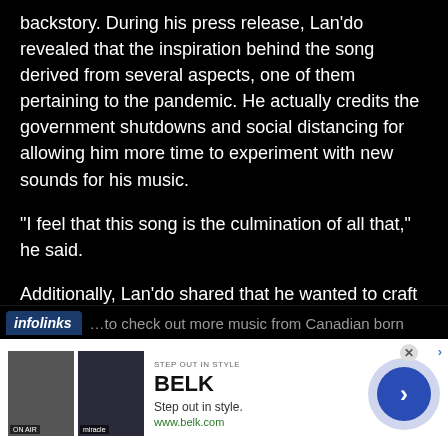backstory. During his press release, Lan'do revealed that the inspiration behind the song derived from several aspects, one of them pertaining to the pandemic. He actually credits the government shutdowns and social distancing for allowing him more time to experiment with new sounds for his music.
“I feel that this song is the culmination of all that,” he said.
Additionally, Lan’do shared that he wanted to craft something that would make him stand out from the crowd. Being a new artist can be tough, and Lan’do knew the type of first-impression he had to make in order to get fans to listen. Indeed, the artist did not disappoint.
…to check out more music from Canadian born
[Figure (screenshot): Infolinks advertisement banner with BELK ad showing two fashion images, tagline 'Step out in style.' and URL www.belk.com, with a circular blue arrow button on the right.]